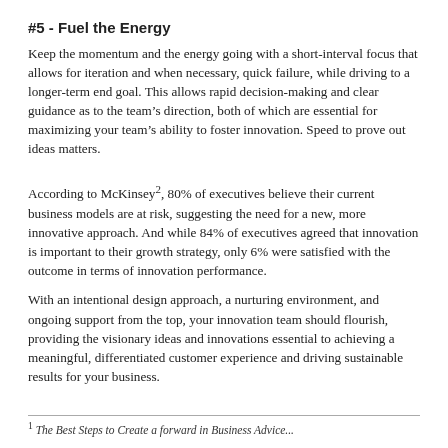#5 - Fuel the Energy
Keep the momentum and the energy going with a short-interval focus that allows for iteration and when necessary, quick failure, while driving to a longer-term end goal. This allows rapid decision-making and clear guidance as to the team’s direction, both of which are essential for maximizing your team’s ability to foster innovation. Speed to prove out ideas matters.
According to McKinsey², 80% of executives believe their current business models are at risk, suggesting the need for a new, more innovative approach. And while 84% of executives agreed that innovation is important to their growth strategy, only 6% were satisfied with the outcome in terms of innovation performance.
With an intentional design approach, a nurturing environment, and ongoing support from the top, your innovation team should flourish, providing the visionary ideas and innovations essential to achieving a meaningful, differentiated customer experience and driving sustainable results for your business.
1 The Best Steps to Create a forward in Business Advice...